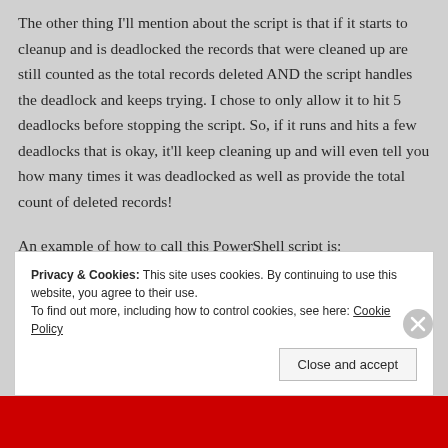The other thing I'll mention about the script is that if it starts to cleanup and is deadlocked the records that were cleaned up are still counted as the total records deleted AND the script handles the deadlock and keeps trying. I chose to only allow it to hit 5 deadlocks before stopping the script. So, if it runs and hits a few deadlocks that is okay, it'll keep cleaning up and will even tell you how many times it was deadlocked as well as provide the total count of deleted records!
An example of how to call this PowerShell script is:
Privacy & Cookies: This site uses cookies. By continuing to use this website, you agree to their use.
To find out more, including how to control cookies, see here: Cookie Policy
Close and accept